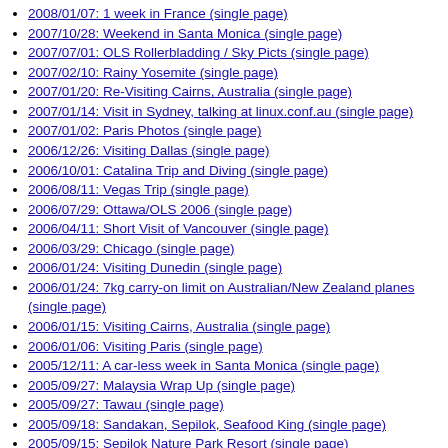2008/01/07: 1 week in France (single page)
2007/10/28: Weekend in Santa Monica (single page)
2007/07/01: OLS Rollerbladding / Sky Picts (single page)
2007/02/10: Rainy Yosemite (single page)
2007/01/20: Re-Visiting Cairns, Australia (single page)
2007/01/14: Visit in Sydney, talking at linux.conf.au (single page)
2007/01/02: Paris Photos (single page)
2006/12/26: Visiting Dallas (single page)
2006/10/01: Catalina Trip and Diving (single page)
2006/08/11: Vegas Trip (single page)
2006/07/29: Ottawa/OLS 2006 (single page)
2006/04/11: Short Visit of Vancouver (single page)
2006/03/29: Chicago (single page)
2006/01/24: Visiting Dunedin (single page)
2006/01/24: 7kg carry-on limit on Australian/New Zealand planes (single page)
2006/01/15: Visiting Cairns, Australia (single page)
2006/01/06: Visiting Paris (single page)
2005/12/11: A car-less week in Santa Monica (single page)
2005/09/27: Malaysia Wrap Up (single page)
2005/09/27: Tawau (single page)
2005/09/18: Sandakan, Sepilok, Seafood King (single page)
2005/09/15: Sepilok Nature Park Resort (single page)
2005/09/14: Trip to Malaysia (single page)